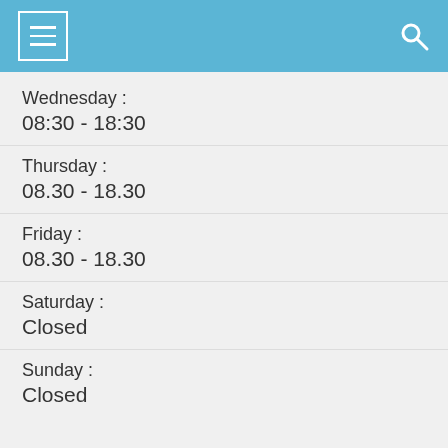[Figure (screenshot): Mobile app header bar with blue background, hamburger menu icon on left, search icon on right]
Wednesday :
08:30 - 18:30
Thursday :
08.30 - 18.30
Friday :
08.30 - 18.30
Saturday :
Closed
Sunday :
Closed